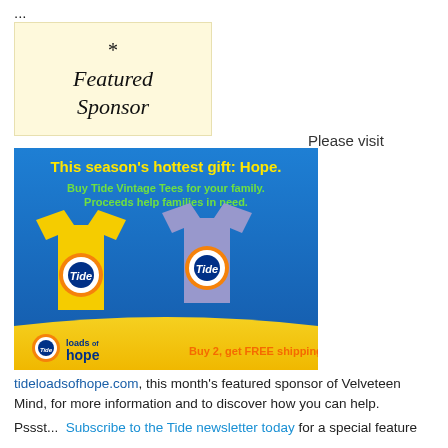...
[Figure (illustration): Featured Sponsor badge — cream/yellow background box with cursive script text reading '*Featured Sponsor']
Please visit
[Figure (photo): Tide Loads of Hope advertisement. Blue background with yellow and blue/purple t-shirts bearing the Tide logo. Text: 'This season's hottest gift: Hope. Buy Tide Vintage Tees for your family. Proceeds help families in need.' Bottom banner: Tide loads of hope logo with 'Buy 2, get FREE shipping']
tideloadsofhope.com, this month's featured sponsor of Velveteen Mind, for more information and to discover how you can help.
Pssst...  Subscribe to the Tide newsletter today for a special feature